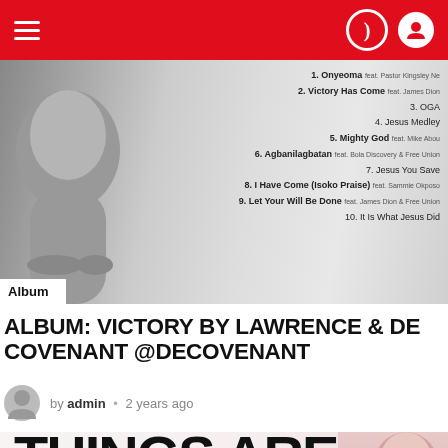Navigation bar with hamburger menu and icons
[Figure (photo): Black and white album cover showing a person's face on the left, with a tracklist on the right including 10 songs: 1. Onyeoma feat. Pastor Kingsley Ne, 2. Victory Has Come feat. James Dion, 3. OGA, 4. Jesus Medley, 5. Mighty God feat. Mike Abou, 6. Agbanilagbatan feat. Bola Discovery & Free Union, 7. Jesus You Save, 8. I Have Come (Isoko Praise) feat. Sammie Okposo, 9. Let Your Will Be Done feat. James Dion & Free Union, 10. It Is What Jesus Did]
Album
ALBUM: VICTORY BY LAWRENCE & DE COVENANT @DECOVENANT
by admin • 2 years ago
[Figure (photo): Partial image showing large bold text 'THINGS ARE' at top and cursive pink text 'Working For Your Good' below, with a smiling woman on the right side]